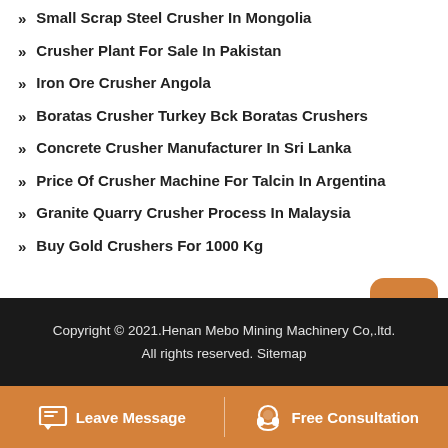Small Scrap Steel Crusher In Mongolia
Crusher Plant For Sale In Pakistan
Iron Ore Crusher Angola
Boratas Crusher Turkey Bck Boratas Crushers
Concrete Crusher Manufacturer In Sri Lanka
Price Of Crusher Machine For Talcin In Argentina
Granite Quarry Crusher Process In Malaysia
Buy Gold Crushers For 1000 Kg
Copyright © 2021.Henan Mebo Mining Machinery Co,.ltd. All rights reserved. Sitemap
Leave Message   Free Consultation